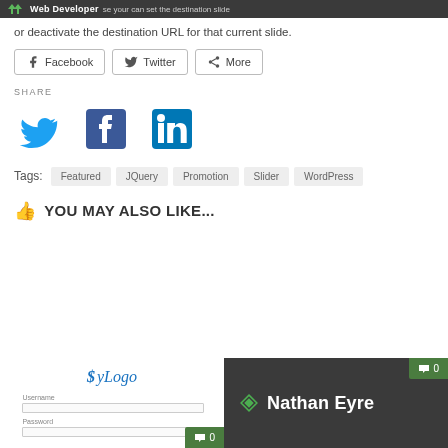Web Developer
or deactivate the destination URL for that current slide.
[Figure (other): Social share buttons: Facebook, Twitter, More]
SHARE
[Figure (other): Social media icons: Twitter bird, Facebook f, LinkedIn in]
Tags: Featured  JQuery  Promotion  Slider  WordPress
YOU MAY ALSO LIKE...
[Figure (screenshot): Two thumbnail cards: left shows MyLogo WordPress login form, right shows dark card with Nathan Eyre logo text]